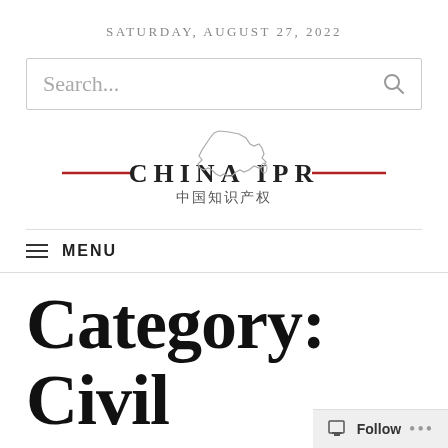SATURDAY, AUGUST 27, 2022
[Figure (other): Search box with placeholder text 'Search...' and a magnifying glass icon]
[Figure (logo): China IPR logo with map outline of China and decorative red lines, text reads 'CHINA IPR' and Chinese characters '中国知识产权']
MENU
Category: Civil Infringement